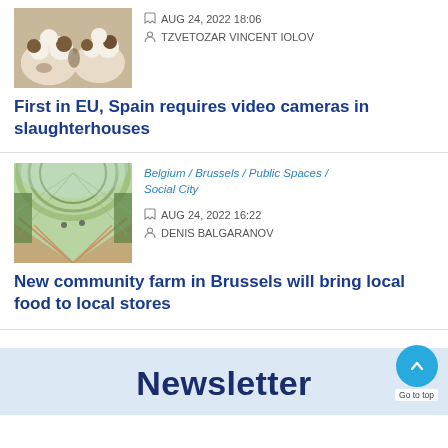[Figure (photo): Cows close-up, brown and white cattle]
AUG 24, 2022 18:06
TZVETOZAR VINCENT IOLOV
First in EU, Spain requires video cameras in slaughterhouses
[Figure (photo): Indoor farm/greenhouse corridor with arched glass roof]
Belgium / Brussels / Public Spaces / Social City
AUG 24, 2022 16:22
DENIS BALGARANOV
New community farm in Brussels will bring local food to local stores
Newsletter